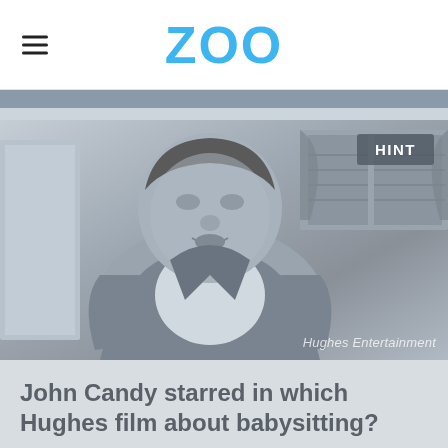ZOO
[Figure (photo): Black and white still photo of a heavyset man (John Candy) wearing a blazer, looking surprised, in an indoor setting with curtains and shelving in the background. 'HINT' button in upper right corner. Watermark reads 'Hughes Entertainment'.]
John Candy starred in which Hughes film about babysitting?